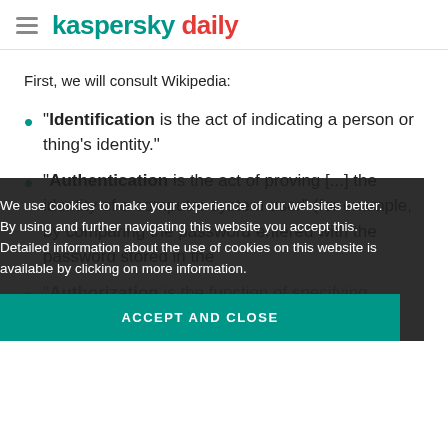kaspersky daily
First, we will consult Wikipedia:
“Identification is the act of indicating a person or thing’s identity.”
“Authentication is the act of proving [...] the identity of a computer system user” (for example, by comparing the password entered with the password stored in the database).
“Authorization is the function of specifying access rights/privileges to resources.”
We use cookies to make your experience of our websites better. By using and further navigating this website you accept this. Detailed information about the use of cookies on this website is available by clicking on more information.
ACCEPT AND CLOSE